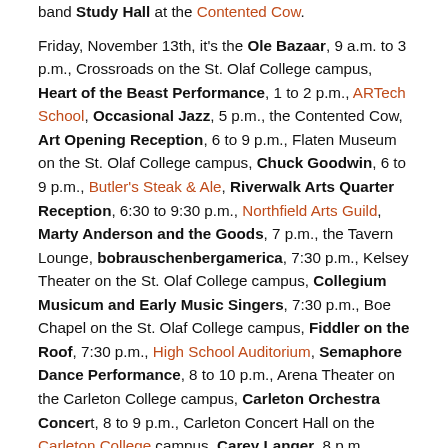band Study Hall at the Contented Cow.
Friday, November 13th, it's the Ole Bazaar, 9 a.m. to 3 p.m., Crossroads on the St. Olaf College campus, Heart of the Beast Performance, 1 to 2 p.m., ARTech School, Occasional Jazz, 5 p.m., the Contented Cow, Art Opening Reception, 6 to 9 p.m., Flaten Museum on the St. Olaf College campus, Chuck Goodwin, 6 to 9 p.m., Butler's Steak & Ale, Riverwalk Arts Quarter Reception, 6:30 to 9:30 p.m., Northfield Arts Guild, Marty Anderson and the Goods, 7 p.m., the Tavern Lounge, bobrauschenbergamerica, 7:30 p.m., Kelsey Theater on the St. Olaf College campus, Collegium Musicum and Early Music Singers, 7:30 p.m., Boe Chapel on the St. Olaf College campus, Fiddler on the Roof, 7:30 p.m., High School Auditorium, Semaphore Dance Performance, 8 to 10 p.m., Arena Theater on the Carleton College campus, Carleton Orchestra Concert, 8 to 9 p.m., Carleton Concert Hall on the Carleton College campus, Carey Langer, 8 p.m.,